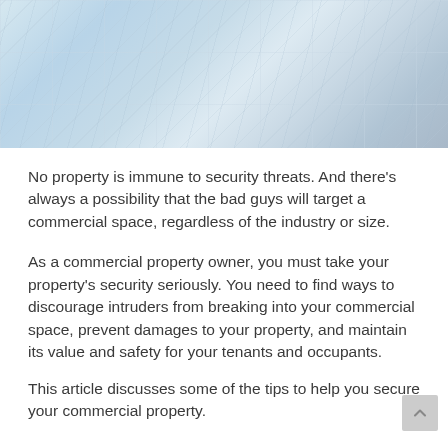[Figure (photo): Abstract architectural photo of a modern glass building facade with geometric grid pattern and diagonal lines in light blue and grey tones]
No property is immune to security threats. And there's always a possibility that the bad guys will target a commercial space, regardless of the industry or size.
As a commercial property owner, you must take your property's security seriously. You need to find ways to discourage intruders from breaking into your commercial space, prevent damages to your property, and maintain its value and safety for your tenants and occupants.
This article discusses some of the tips to help you secure your commercial property.